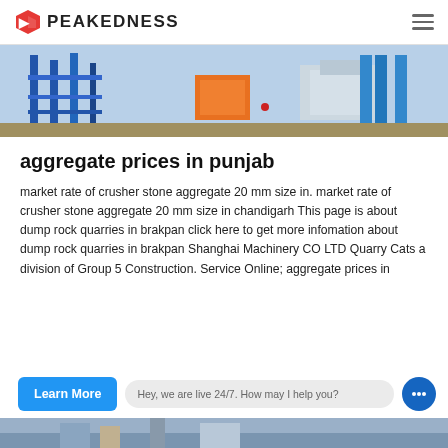PEAKEDNESS
[Figure (photo): Industrial aggregate/concrete batching plant with blue steel structures, orange machinery, and conveyor belts outdoors]
aggregate prices in punjab
market rate of crusher stone aggregate 20 mm size in. market rate of crusher stone aggregate 20 mm size in chandigarh This page is about dump rock quarries in brakpan click here to get more infomation about dump rock quarries in brakpan Shanghai Machinery CO LTD Quarry Cats a division of Group 5 Construction. Service Online; aggregate prices in
[Figure (photo): Bottom strip of an industrial machinery/construction site image]